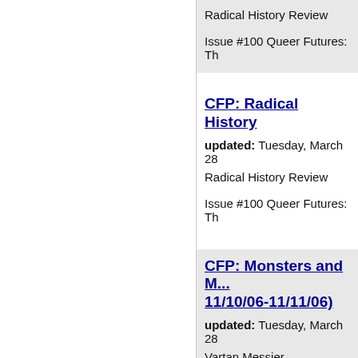Radical History Review
Issue #100 Queer Futures: Th
CFP: Radical History
updated: Tuesday, March 28
Radical History Review
Issue #100 Queer Futures: Th
CFP: Monsters and M... 11/10/06-11/11/06)
updated: Tuesday, March 28
Vartan Messier
College English Association -
Fall 2005 Conference: 10-1